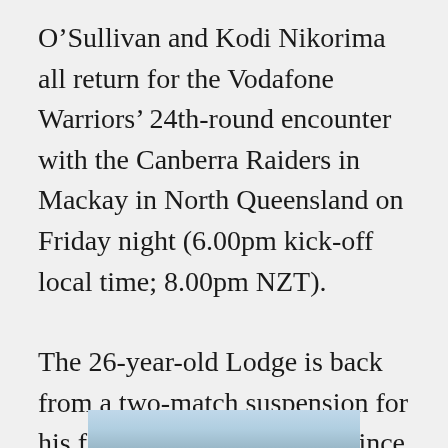O’Sullivan and Kodi Nikorima all return for the Vodafone Warriors’ 24th-round encounter with the Canberra Raiders in Mackay in North Queensland on Friday night (6.00pm kick-off local time; 8.00pm NZT).
The 26-year-old Lodge is back from a two-match suspension for his fifth outing for the club since being signed from the Brisbane Broncos last month.
[Figure (photo): Partial photo visible at the bottom of the page, showing a blue/grey sky or outdoor scene]